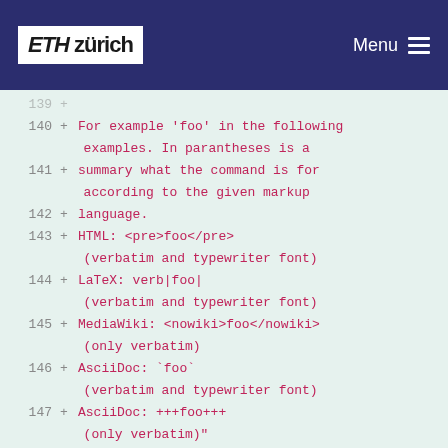ETH zürich   Menu
[Figure (screenshot): Code diff view showing lines 140-151 of a source file with line numbers and added lines marked with '+', displaying markup language examples for verbatim/typewriter font formatting in HTML, LaTeX, MediaWiki, AsciiDoc, and defface definitions.]